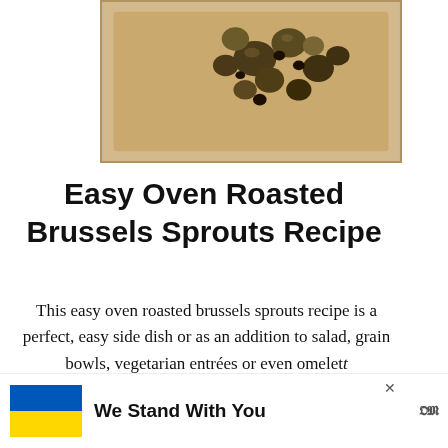[Figure (photo): Food photo of oven roasted brussels sprouts on a baking sheet, viewed from above, partially cropped at top]
Easy Oven Roasted Brussels Sprouts Recipe
This easy oven roasted brussels sprouts recipe is a perfect, easy side dish or as an addition to salad, grain bowls, vegetarian entrées or even omelett
[Figure (other): READ MORE button — teal/dark-teal rectangle with white text]
[Figure (other): WHAT'S NEXT panel with thumbnail and text: How to Make a Piñata]
[Figure (other): We Stand With You ad banner with Ukraine flag, close X button, and logo]